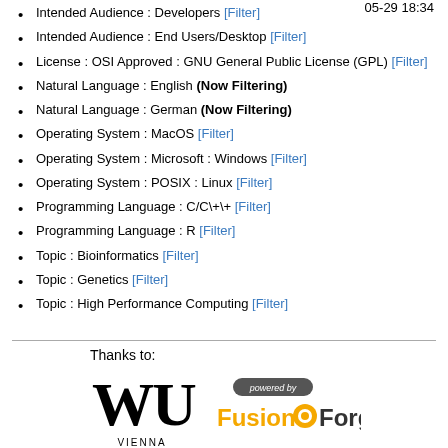Intended Audience : Developers [Filter]
Intended Audience : End Users/Desktop [Filter]
License : OSI Approved : GNU General Public License (GPL) [Filter]
Natural Language : English (Now Filtering)
Natural Language : German (Now Filtering)
Operating System : MacOS [Filter]
Operating System : Microsoft : Windows [Filter]
Operating System : POSIX : Linux [Filter]
Programming Language : C/C\+\+ [Filter]
Programming Language : R [Filter]
Topic : Bioinformatics [Filter]
Topic : Genetics [Filter]
Topic : High Performance Computing [Filter]
Thanks to: WU Vienna | Powered by FusionForge